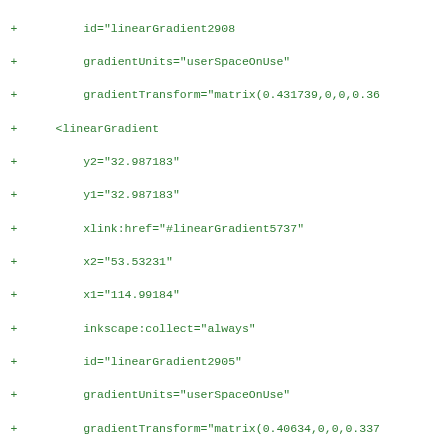Diff/code listing showing linearGradient XML attributes with + markers in green monospace font